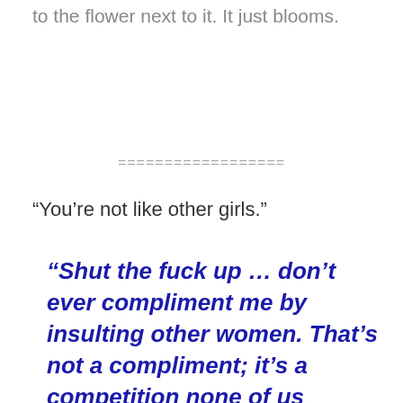to the flower next to it. It just blooms.
==================
“You’re not like other girls.”
“Shut the fuck up … don’t ever compliment me by insulting other women. That’s not a compliment; it’s a competition none of us agreed to.”